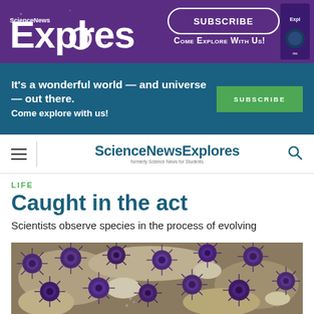[Figure (screenshot): Science News Explores banner with purple background, logo on left, SUBSCRIBE button and 'COME EXPLORE WITH US!' text in center, magazine cover image on right]
[Figure (screenshot): Teal subscription bar with text 'It's a wonderful world — and universe — out there. Come explore with us!' on left and green SUBSCRIBE button on right]
ScienceNewsExplores — (formerly Science News for Students)
LIFE
Caught in the act
Scientists observe species in the process of evolving
[Figure (photo): Close-up photograph of purple sea urchins clustered on a rocky tidal surface]